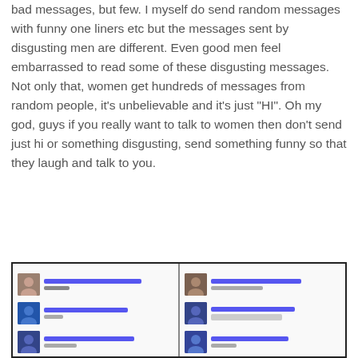bad messages, but few. I myself do send random messages with funny one liners etc but the messages sent by disgusting men are different. Even good men feel embarrassed to read some of these disgusting messages. Not only that, women get hundreds of messages from random people, it's unbelievable and it's just "HI". Oh my god, guys if you really want to talk to women then don't send just hi or something disgusting, send something funny so that they laugh and talk to you.
[Figure (screenshot): Two side-by-side screenshots of social media message inboxes showing blurred/redacted sender names in blue and avatar thumbnails, demonstrating the volume of messages received.]